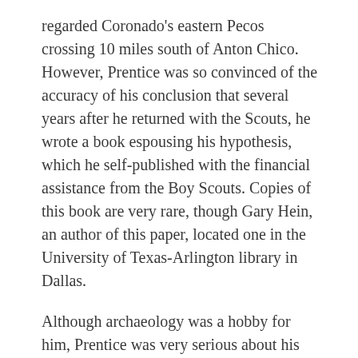regarded Coronado's eastern Pecos crossing 10 miles south of Anton Chico. However, Prentice was so convinced of the accuracy of his conclusion that several years after he returned with the Scouts, he wrote a book espousing his hypothesis, which he self-published with the financial assistance from the Boy Scouts. Copies of this book are very rare, though Gary Hein, an author of this paper, located one in the University of Texas-Arlington library in Dallas.
Although archaeology was a hobby for him, Prentice was very serious about his efforts. Even after twenty-four years of pursuing this hobby, the newly launched University of New Mexico periodical, the New Mexico Anthropologist, reported that in 1936 and 1937